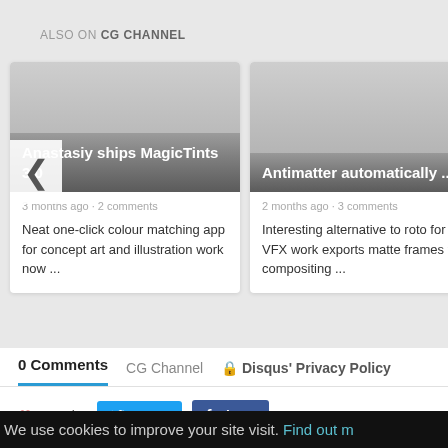ALSO ON CG CHANNEL
[Figure (screenshot): Card for 'Anastasiy ships MagicTints 3.0' with image, 3 months ago · 2 comments, and description text]
3 months ago · 2 comments
Neat one-click colour matching app for concept art and illustration work now ...
[Figure (screenshot): Card for 'Antimatter automatically ...' with image, 2 months ago · 3 comments, and description text]
2 months ago · 3 comments
Interesting alternative to roto for VFX work exports matte frames to compositing ...
0 Comments    CG Channel    🔒 Disqus' Privacy Policy
♡ Favorite   Tweet   f Share
We use cookies to improve your site visit. Find out m